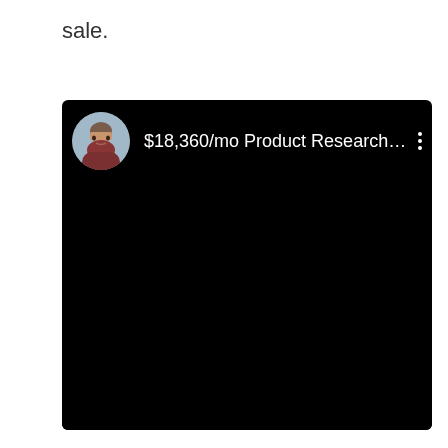sale.
[Figure (screenshot): A dark/black video card thumbnail showing a circular profile photo of a young man and the title '$18,360/mo Product Research f...' with a three-dot menu icon on the right, set against a black background.]